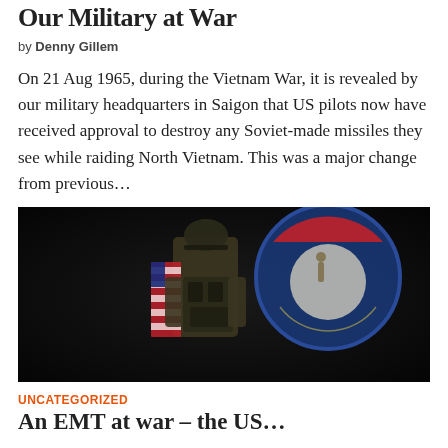Our Military at War
by Denny Gillem
On 21 Aug 1965, during the Vietnam War, it is revealed by our military headquarters in Saigon that US pilots now have received approval to destroy any Soviet-made missiles they see while raiding North Vietnam. This was a major change from previous…
[Figure (photo): A soldier in full combat gear with a camouflage uniform and helmet, viewed from behind, with an American flag draped over the left shoulder. In the background is a circular military emblem/seal partially visible.]
UNCATEGORIZED
An EMT at war – the US…